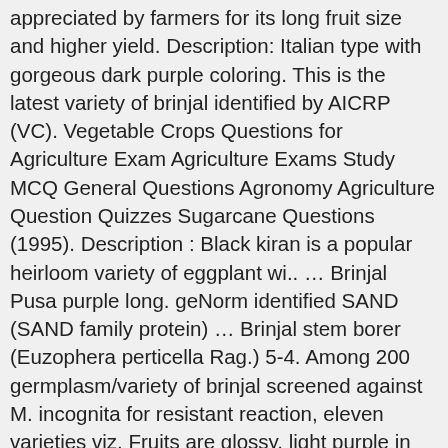appreciated by farmers for its long fruit size and higher yield. Description: Italian type with gorgeous dark purple coloring. This is the latest variety of brinjal identified by AICRP (VC). Vegetable Crops Questions for Agriculture Exam Agriculture Exams Study MCQ General Questions Agronomy Agriculture Question Quizzes Sugarcane Questions (1995). Description : Black kiran is a popular heirloom variety of eggplant wi.. … Brinjal Pusa purple long. geNorm identified SAND (SAND family protein) … Brinjal stem borer (Euzophera perticella Rag.) 5-4. Among 200 germplasm/variety of brinjal screened against M. incognita for resistant reaction, eleven varieties viz. Fruits are glossy, light purple in colour, 25-30 cm long, smooth and tender. In another screening of brinjal varieties Krishna et al. Get all types of top quality Vegetable seeds from here. Pusa Purple Long It is an early maturing and long fruited type variety. In two year trial with Pusa purple cluster variety growing on sandy loam soil, Gupta and Rao, (1984) found highest yield of 239.6 q ha-1 with 150 kg N ha-1. Brinjal/eggplant/aubergine is one of the